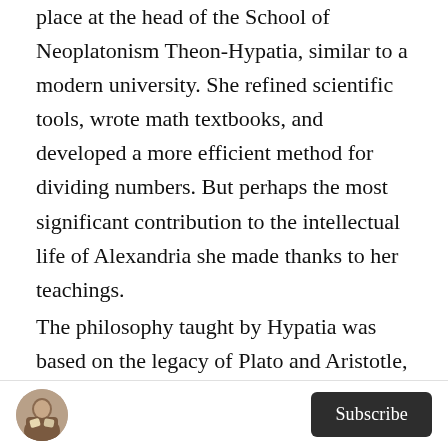place at the head of the School of Neoplatonism Theon-Hypatia, similar to a modern university. She refined scientific tools, wrote math textbooks, and developed a more efficient method for dividing numbers. But perhaps the most significant contribution to the intellectual life of Alexandria she made thanks to her teachings.
The philosophy taught by Hypatia was based on the legacy of Plato and Aristotle, as well as the mystical philosopher Plotinus and the mathematician Pythagoras. The amalgamation of such influential ideas formed a school called Neoplatonism. For the Neoplatonists, mathematics had a spiritual aspect…